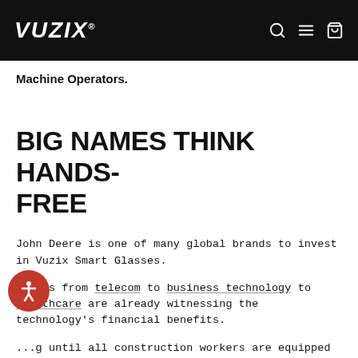VUZIX [navigation icons: search, menu, cart]
Machine Operators.
BIG NAMES THINK HANDS-FREE
John Deere is one of many global brands to invest in Vuzix Smart Glasses.
Titans from telecom to business technology to healthcare are already witnessing the technology's financial benefits.
...g until all construction workers are equipped with t...evices? Soon, they'll be as omnipresent as hard hats.